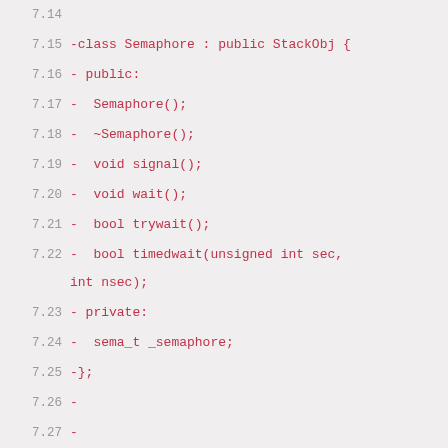7.14
7.15 -class Semaphore : public StackObj {
7.16 - public:
7.17 -  Semaphore();
7.18 -  ~Semaphore();
7.19 -  void signal();
7.20 -  void wait();
7.21 -  bool trywait();
7.22 -  bool timedwait(unsigned int sec, int nsec);
7.23 - private:
7.24 -  sema_t _semaphore;
7.25 -};
7.26 -
7.27 -
7.28 -Semaphore::Semaphore() {
7.29 -  sema_init(&_semaphore, 0, NULL, NULL);
7.30 -}
7.31 -
7.32 -Semaphore::~Semaphore() {
7.33 -  sema_destroy(&_semaphore);
7.34 -}
7.35 -
7.36 -void Semaphore::signal() {
7.37 -  sema_post(&_semaphore);